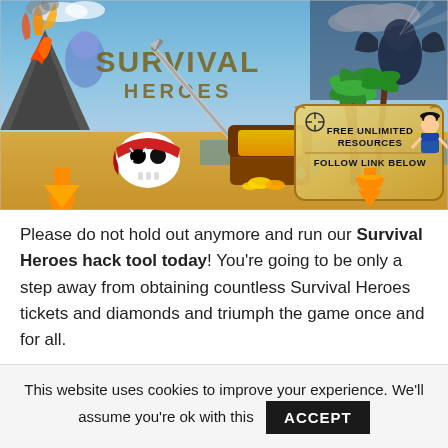[Figure (illustration): Survival Heroes game banner showing pirate theme with volcano, skull, treasure chest, palm trees, sword, and a scroll with text 'FREE UNLIMITED RESOURCES' and 'FOLLOW LINK BELOW' with orange arrows. Title reads 'SURVIVAL HEROES'.]
Please do not hold out anymore and run our Survival Heroes hack tool today! You're going to be only a step away from obtaining countless Survival Heroes tickets and diamonds and triumph the game once and for all.
This website uses cookies to improve your experience. We'll assume you're ok with this ACCEPT